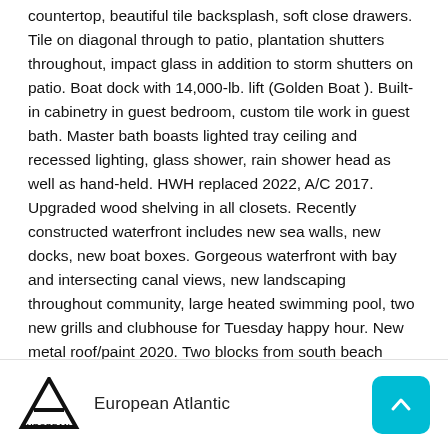countertop, beautiful tile backsplash, soft close drawers. Tile on diagonal through to patio, plantation shutters throughout, impact glass in addition to storm shutters on patio. Boat dock with 14,000-lb. lift (Golden Boat ). Built-in cabinetry in guest bedroom, custom tile work in guest bath. Master bath boasts lighted tray ceiling and recessed lighting, glass shower, rain shower head as well as hand-held. HWH replaced 2022, A/C 2017. Upgraded wood shelving in all closets. Recently constructed waterfront includes new sea walls, new docks, new boat boxes. Gorgeous waterfront with bay and intersecting canal views, new landscaping throughout community, large heated swimming pool, two new grills and clubhouse for Tuesday happy hour. New metal roof/paint 2020. Two blocks from south beach entrance 10 mins to area
European Atlantic